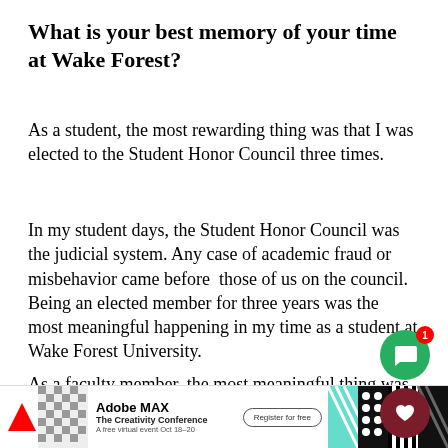What is your best memory of your time at Wake Forest?
As a student, the most rewarding thing was that I was elected to the Student Honor Council three times.
In my student days, the Student Honor Council was the judicial system. Any case of academic fraud or misbehavior came before  those of us on the council. Being an elected member for three years was the most meaningful happening in my time as a student at Wake Forest University.
As a faculty member, the most meaningful thing was being chair of my department for 16 years because you're able to really make a contribution to your
[Figure (screenshot): Adobe MAX advertisement banner at the bottom of the page with logo, conference name, and register button; overlaid with UI chat and like buttons]